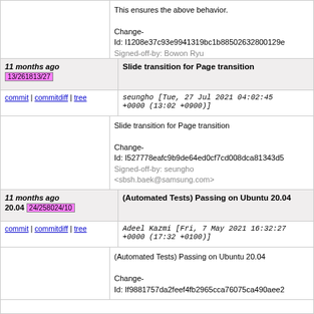This ensures the above behavior.

Change-Id: I1208e37c93e9941319bc1b88502632800129e
Signed-off-by: Bowon Ryu <bowon.ryu@samsung.com>
11 months ago  Slide transition for Page transition  13/261813/27
commit | commitdiff | tree   seungho [Tue, 27 Jul 2021 04:02:45 +0000 (13:02 +0900)]
Slide transition for Page transition

Change-Id: I527778eafc9b9de64ed0cf7cd008dca81343d5
Signed-off-by: seungho <sbsh.baek@samsung.com>
11 months ago  (Automated Tests) Passing on Ubuntu 20.04  24/258024/10
commit | commitdiff | tree   Adeel Kazmi [Fri, 7 May 2021 16:32:27 +0000 (17:32 +0100)]
(Automated Tests) Passing on Ubuntu 20.04

Change-Id: If9881757da2feef4fb2965cca76075ca490aee2